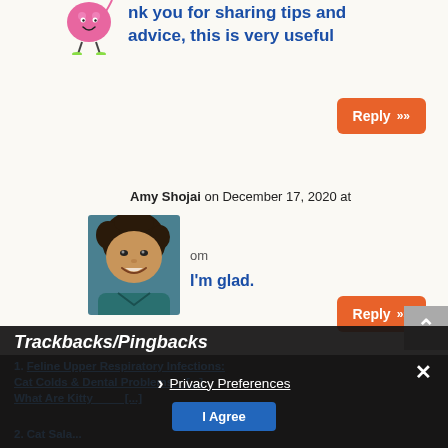nk you for sharing tips and advice, this is very useful
Reply »
Amy Shojai on December 17, 2020 at
om
[Figure (photo): Avatar photo of Amy Shojai, a woman with curly dark hair smiling, wearing a teal top]
I'm glad.
Reply »
Trackbacks/Pingbacks
1. Feline Upper Respiratory Infections: Cat Colds & Dental Problems – [...] What Are Kitty [...]
2. Cat Sala...
Privacy Preferences
I Agree